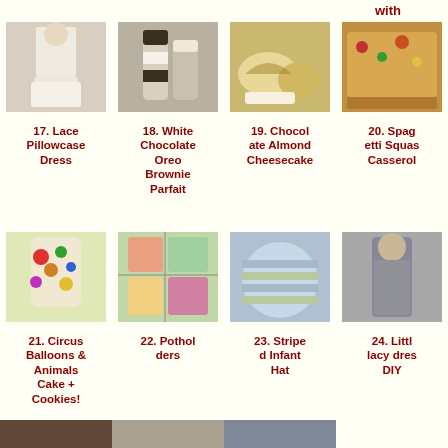with Marshmallow Fondant
[Figure (photo): Lace pillowcase dress worn by a child]
17. Lace Pillowcase Dress
[Figure (photo): White chocolate oreo brownie parfait in glass jars]
18. White Chocolate Oreo Brownie Parfait
[Figure (photo): Chocolate almond cheesecake slices on plates]
19. Chocolate Almond Cheesecake
[Figure (photo): Spaghetti squash casserole dish]
20. Spaghetti Squash Casserole
[Figure (photo): Circus balloons and animals cake with cookies]
21. Circus Balloons & Animals Cake + Cookies!
[Figure (photo): Colorful patchwork potholders]
22. Potholders
[Figure (photo): Striped infant crocheted hat in blue and brown]
23. Striped Infant Hat
[Figure (photo): Little lacy dress DIY, woman in grey dress]
24. Little lacy dress DIY
[Figure (photo): Bottom row partial images]
[Figure (photo): Bottom row partial image 2]
[Figure (photo): Bottom row partial image 3]